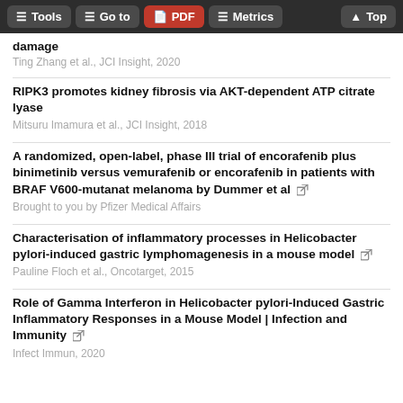Tools | Go to | PDF | Metrics | Top
damage
Ting Zhang et al., JCI Insight, 2020
RIPK3 promotes kidney fibrosis via AKT-dependent ATP citrate lyase
Mitsuru Imamura et al., JCI Insight, 2018
A randomized, open-label, phase III trial of encorafenib plus binimetinib versus vemurafenib or encorafenib in patients with BRAF V600-mutanat melanoma by Dummer et al
Brought to you by Pfizer Medical Affairs
Characterisation of inflammatory processes in Helicobacter pylori-induced gastric lymphomagenesis in a mouse model
Pauline Floch et al., Oncotarget, 2015
Role of Gamma Interferon in Helicobacter pylori-Induced Gastric Inflammatory Responses in a Mouse Model | Infection and Immunity
Infect Immun, 2020